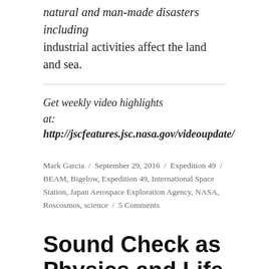natural and man-made disasters including industrial activities affect the land and sea.
Get weekly video highlights at: http://jscfeatures.jsc.nasa.gov/videoupdate/
Mark Garcia / September 29, 2016 / Expedition 49 / BEAM, Bigelow, Expedition 49, International Space Station, Japan Aerospace Exploration Agency, NASA, Roscosmos, science / 5 Comments
Sound Check as Physics and Life Research Continues